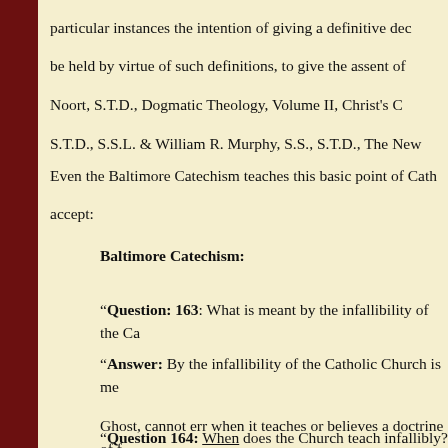particular instances the intention of giving a definitive dec be held by virtue of such definitions, to give the assent of Noort, S.T.D., Dogmatic Theology, Volume II, Christ's C S.T.D., S.S.L. & William R. Murphy, S.S., S.T.D., The New
Even the Baltimore Catechism teaches this basic point of Cath accept:
Baltimore Catechism:
“Question: 163: What is meant by the infallibility of the Ca
“Answer: By the infallibility of the Catholic Church is me Ghost, cannot err when it teaches or believes a doctrine of f
“Question 164: When does the Church teach infallibly?